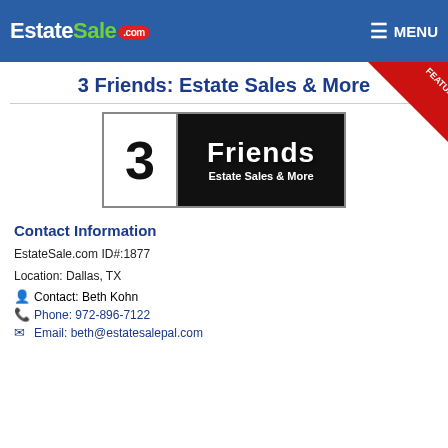EstateSale.com | MENU
3 Friends: Estate Sales & More
[Figure (logo): 3 Friends Estate Sales & More company logo — white left panel with large bold '3', black right panel with 'Friends' and 'Estate Sales & More' in white text]
Contact Information
EstateSale.com ID#:1877
Location: Dallas, TX
Contact: Beth Kohn
Phone: 972-896-7122
Email: beth@estatesalepal.com